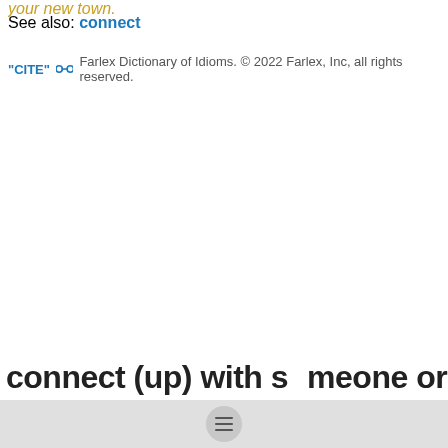your new town.
See also: connect
"CITE" 🔗  Farlex Dictionary of Idioms. © 2022 Farlex, Inc, all rights reserved.
connect (up) with someone or something